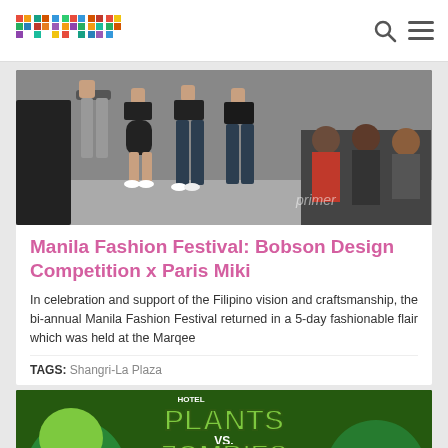primer
[Figure (photo): Manila Fashion Festival runway photo showing models walking in dark clothing; audience seated to the right; 'primer' watermark in lower right]
Manila Fashion Festival: Bobson Design Competition x Paris Miki
In celebration and support of the Filipino vision and craftsmanship, the bi-annual Manila Fashion Festival returned in a 5-day fashionable flair which was held at the Marqee
TAGS: Shangri-La Plaza
[Figure (photo): Plants vs Zombies Hotel promotional image with cartoon plants characters and green text logo]